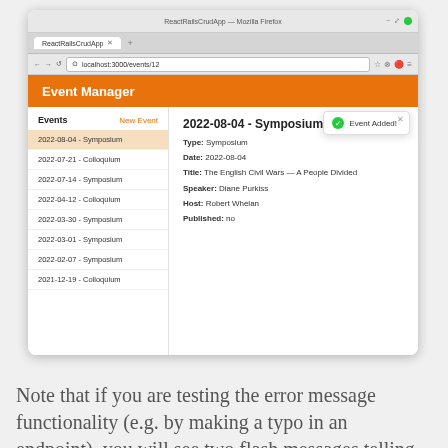[Figure (screenshot): Browser screenshot showing a React Rails CRUD App - Event Manager web application. The browser shows Mozilla Firefox with address bar showing localhost:3000/events/12. The app has an orange header 'Event Manager', a sidebar listing events, and a main panel showing a Symposium event. A green 'Event Added!' toast notification is visible.]
Note that if you are testing the error message functionality (e.g. by making a typo in an endpoint), you will see two flash messages telling you that something has gone wrong, where you might have expected one. The reason